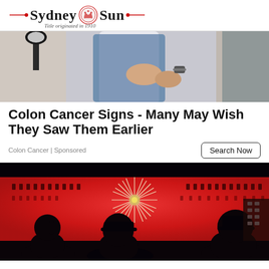Sydney Sun — Title originated in 1910
[Figure (photo): A person in a denim jacket holding their stomach/abdomen area, with a lamp visible on the left side. Background appears to be an office or home setting.]
Colon Cancer Signs - Many May Wish They Saw Them Earlier
Colon Cancer | Sponsored
[Figure (photo): A dark bar or nightclub scene with a red-lit wall, a decorative starburst/chandelier light fixture in the center, wine bottles or glasses arranged on the wall, and silhouettes of people in the foreground.]